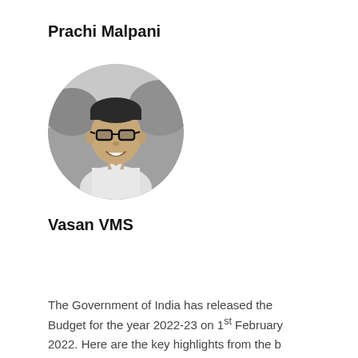Prachi Malpani
[Figure (photo): Black and white circular portrait photo of a man wearing glasses and a collared shirt, smiling, with an outdoor background.]
Vasan VMS
The Government of India has released the Budget for the year 2022-23 on 1st February 2022. Here are the key highlights from the b...